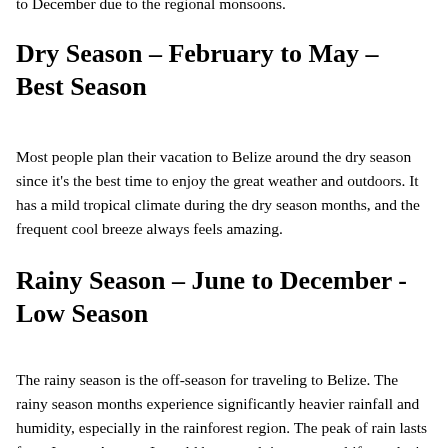to December due to the regional monsoons.
Dry Season – February to May – Best Season
Most people plan their vacation to Belize around the dry season since it's the best time to enjoy the great weather and outdoors. It has a mild tropical climate during the dry season months, and the frequent cool breeze always feels amazing.
Rainy Season – June to December - Low Season
The rainy season is the off-season for traveling to Belize. The rainy season months experience significantly heavier rainfall and humidity, especially in the rainforest region. The peak of rain lasts from June to August. It could be a good time to travel if you don't mind daily rain showers because you'll avoid large tourist crowds and find great deals on accommodations or tours. Be sure to stay alert for warnings of hurricanes.